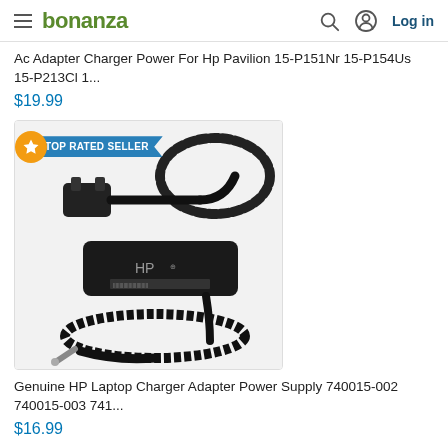bonanza — Log in
Ac Adapter Charger Power For Hp Pavilion 15-P151Nr 15-P154Us 15-P213Cl 1...
$19.99
[Figure (photo): HP laptop AC adapter/charger with black cable and power brick, labeled TOP RATED SELLER]
Genuine HP Laptop Charger Adapter Power Supply 740015-002 740015-003 741...
$16.99